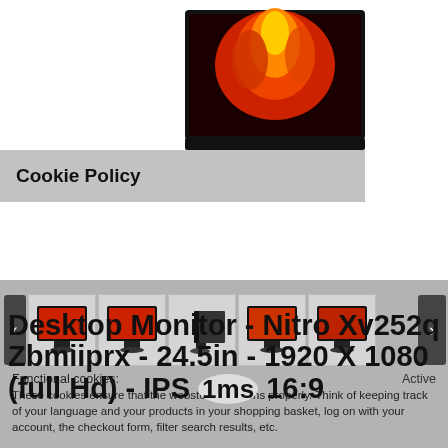[Figure (photo): Acer Nitro monitor product image showing monitor with vivid red/orange flame wallpaper on screen, on a stand]
Cookie Policy
[Figure (screenshot): Row of 6 small thumbnail images of the same monitor from different angles]
Functional cookies:     Active
These cookies ensure that the webstore functions properly. Think of keeping track of your language and your products in your shopping basket, log on with your account, the checkout form, filter search results, etc.
Desktop Monitor - Nitro Xv252q Zbmiiprx - 24.5in - 1920 X 1080 (full Hd) - IPS 1ms 16:9
We use analytical and tracking cookies to see how we can improve our webstore. We can adapt content and potential advertisements to your preference.
Part Number: UM.KX2EE.Z02
Stock:  no stock
Save Settings
Contact your Tecnologika account manager